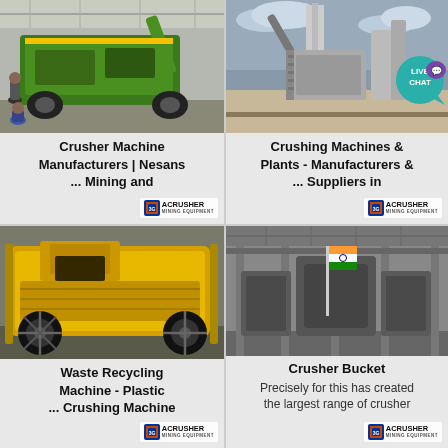[Figure (photo): Green mining crusher machine in a large industrial warehouse with workers nearby. ACRUSHER Mining Equipment watermark in bottom right.]
Crusher Machine Manufacturers | Nesans ... Mining and
[Figure (photo): Large industrial crushing plant facility outdoors with overcast sky. ACRUSHER Mining Equipment watermark. Live Chat bubble overlay in top right.]
Crushing Machines & Plants - Manufacturers & ... Suppliers in
[Figure (photo): Yellow waste recycling/crushing machine with industrial wheels and frame. ACRUSHER Mining Equipment watermark.]
Waste Recycling Machine - Plastic ... Crushing Machine
[Figure (photo): Industrial factory interior with Indian flag and large machinery. ACRUSHER Mining Equipment watermark.]
Crusher Bucket
Precisely for this has created the largest range of crusher